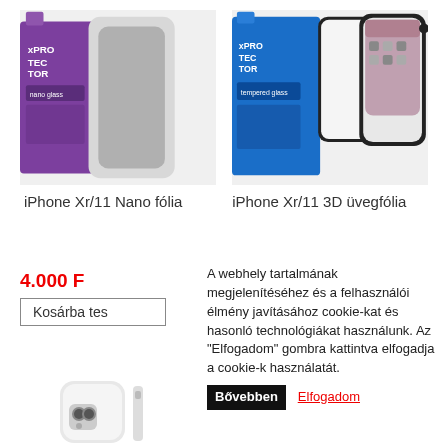[Figure (photo): iPhone Xr/11 Nano fólia product photo — purple xPROTECTOR nano glass packaging and black phone]
[Figure (photo): iPhone Xr/11 3D üvegfólia product photo — blue xPROTECTOR tempered glass packaging and iPhone]
iPhone Xr/11 Nano fólia
iPhone Xr/11 3D üvegfólia
4.000 F
Kosárba tes
A webhely tartalmának megjelenítéséhez és a felhasználói élmény javításához cookie-kat és hasonló technológiákat használunk. Az "Elfogadom" gombra kattintva elfogadja a cookie-k használatát.
Bővebben
Elfogadom
[Figure (photo): Bottom partial product image — white iPhone with camera module visible]